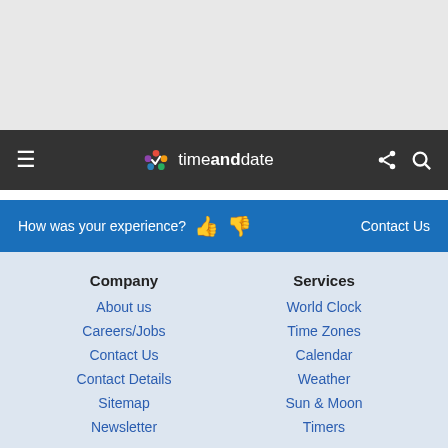timeanddate
How was your experience? 👍 👎   Contact Us
Company
About us
Careers/Jobs
Contact Us
Contact Details
Sitemap
Newsletter
Services
World Clock
Time Zones
Calendar
Weather
Sun & Moon
Timers